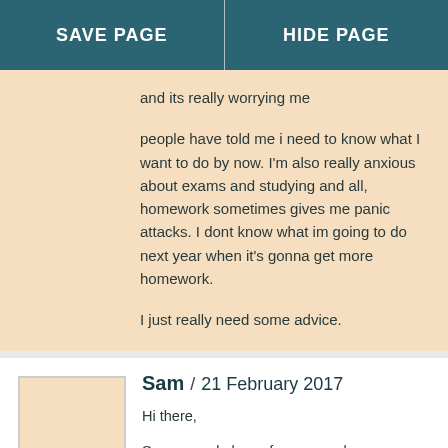SAVE PAGE | HIDE PAGE
and its really worrying me

people have told me i need to know what I want to do by now. I'm also really anxious about exams and studying and all, homework sometimes gives me panic attacks. I dont know what im going to do next year when it's gonna get more homework.

I just really need some advice.
Sam / 21 February 2017
Hi there,

Some people know from an early age exactly what they want to do in life and they